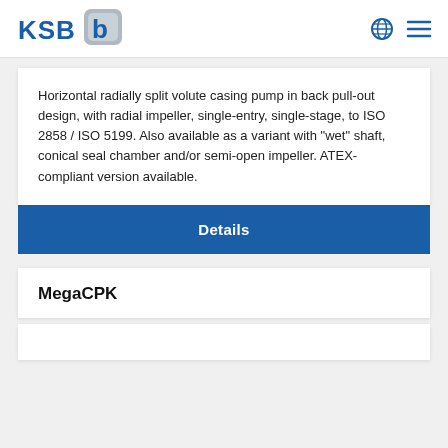KSB logo and navigation icons
Horizontal radially split volute casing pump in back pull-out design, with radial impeller, single-entry, single-stage, to ISO 2858 / ISO 5199. Also available as a variant with "wet" shaft, conical seal chamber and/or semi-open impeller. ATEX-compliant version available.
Details
MegaCPK